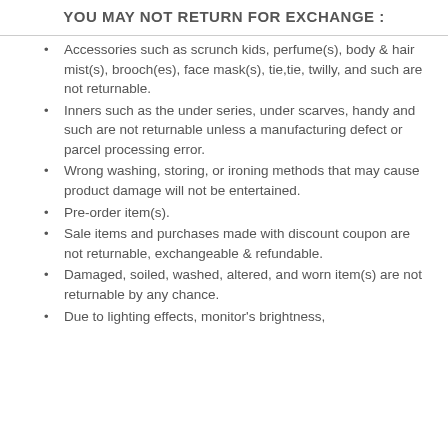YOU MAY NOT RETURN FOR EXCHANGE :
Accessories such as scrunch kids, perfume(s), body & hair mist(s), brooch(es), face mask(s), tie,tie, twilly, and such are not returnable.
Inners such as the under series, under scarves, handy and such are not returnable unless a manufacturing defect or parcel processing error.
Wrong washing, storing, or ironing methods that may cause product damage will not be entertained.
Pre-order item(s).
Sale items and purchases made with discount coupon are not returnable, exchangeable & refundable.
Damaged, soiled, washed, altered, and worn item(s) are not returnable by any chance.
Due to lighting effects, monitor's brightness,